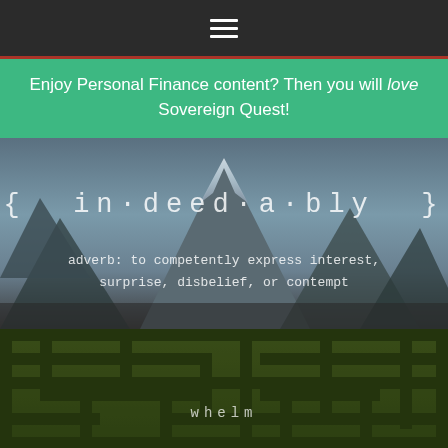[Figure (screenshot): Dark navigation bar with hamburger menu icon (three horizontal white lines)]
Enjoy Personal Finance content? Then you will love Sovereign Quest!
[Figure (photo): Mountain landscape background with text overlay: { in·deed·a·bly } adverb: to competently express interest, surprise, disbelief, or contempt]
[Figure (photo): Aerial view of a green hedge maze with the word 'whelm' overlaid in monospace text]